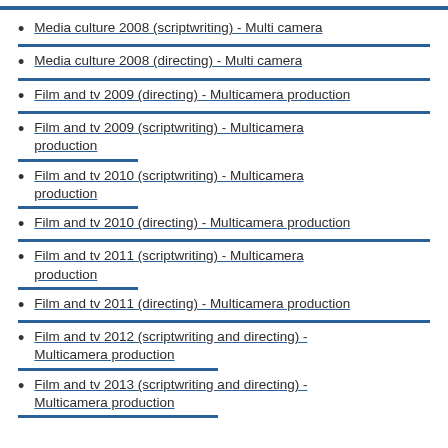Media culture 2008 (scriptwriting) - Multi camera
Media culture 2008 (directing) - Multi camera
Film and tv 2009 (directing) - Multicamera production
Film and tv 2009 (scriptwriting) - Multicamera production
Film and tv 2010 (scriptwriting) - Multicamera production
Film and tv 2010 (directing) - Multicamera production
Film and tv 2011 (scriptwriting) - Multicamera production
Film and tv 2011 (directing) - Multicamera production
Film and tv 2012 (scriptwriting and directing) - Multicamera production
Film and tv 2013 (scriptwriting and directing) - Multicamera production